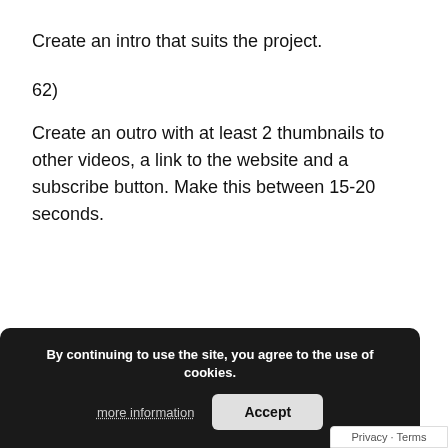Create an intro that suits the project.
62)
Create an outro with at least 2 thumbnails to other videos, a link to the website and a subscribe button. Make this between 15-20 seconds.
By continuing to use the site, you agree to the use of cookies. more information  Accept  Privacy - Terms